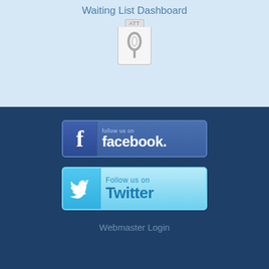Waiting List Dashboard
[Figure (other): ATT attachment/calendar icon with paperclip]
[Figure (other): Follow us on Facebook button/badge]
[Figure (other): Follow us on Twitter button/badge]
Webmaster Login